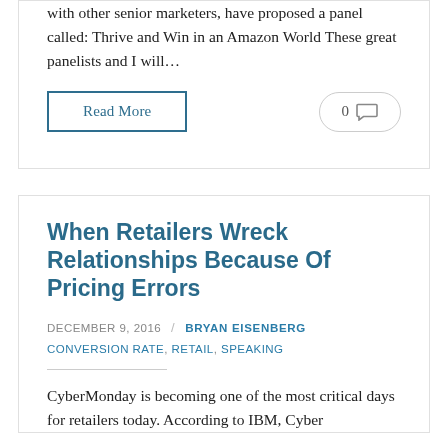with other senior marketers, have proposed a panel called: Thrive and Win in an Amazon World These great panelists and I will…
Read More
When Retailers Wreck Relationships Because Of Pricing Errors
DECEMBER 9, 2016   BRYAN EISENBERG
CONVERSION RATE, RETAIL, SPEAKING
CyberMonday is becoming one of the most critical days for retailers today. According to IBM, Cyber